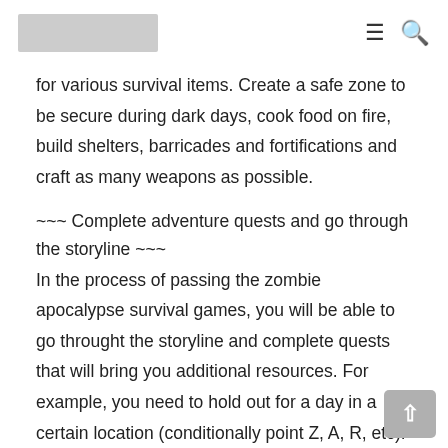[logo placeholder] ≡ 🔍
for various survival items. Create a safe zone to be secure during dark days, cook food on fire, build shelters, barricades and fortifications and craft as many weapons as possible.
~~~ Complete adventure quests and go through the storyline ~~~
In the process of passing the zombie apocalypse survival games, you will be able to go throught the storyline and complete quests that will bring you additional resources. For example, you need to hold out for a day in a certain location (conditionally point Z, A, R, etc).